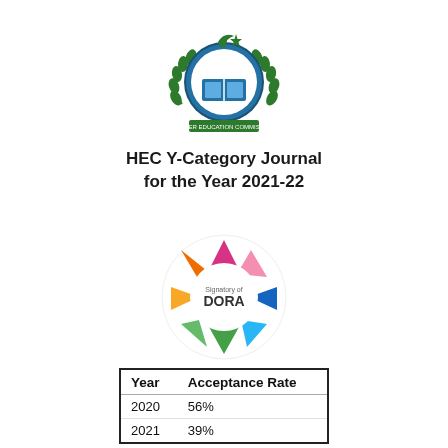[Figure (logo): HEC (Higher Education Commission) Pakistan official logo with crescent and star emblem, green laurel wreath, and blue circular badge with HEC text]
HEC Y-Category Journal for the Year 2021-22
[Figure (logo): Signatory of DORA circular logo with colorful arrow/triangle shapes in pink, orange, yellow, green, blue, and magenta arranged in a star/pinwheel pattern around a white circle with text 'Signatory of DORA']
| Year | Acceptance Rate |
| --- | --- |
| 2020 | 56% |
| 2021 | 39% |